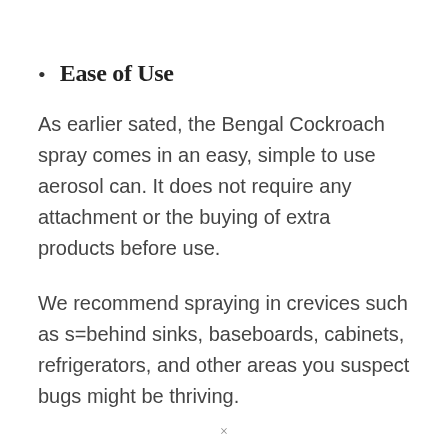Ease of Use
As earlier sated, the Bengal Cockroach spray comes in an easy, simple to use aerosol can. It does not require any attachment or the buying of extra products before use.
We recommend spraying in crevices such as s=behind sinks, baseboards, cabinets, refrigerators, and other areas you suspect bugs might be thriving.